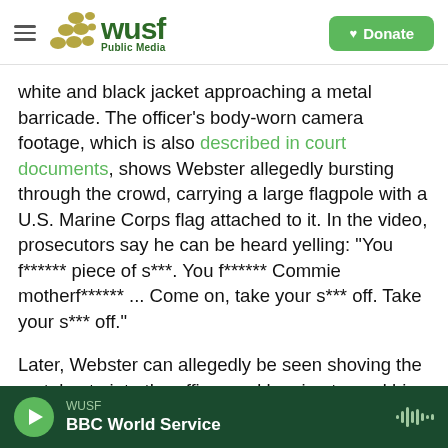WUSF Public Media | Donate
white and black jacket approaching a metal barricade. The officer's body-worn camera footage, which is also described in court documents, shows Webster allegedly bursting through the crowd, carrying a large flagpole with a U.S. Marine Corps flag attached to it. In the video, prosecutors say he can be heard yelling: "You f****** piece of s***. You f****** Commie motherf****** ... Come on, take your s*** off. Take your s*** off."
Later, Webster can allegedly be seen shoving the metal gate into the officer and lunging toward him, striking at him with the flagpole several times.
WUSF | BBC World Service